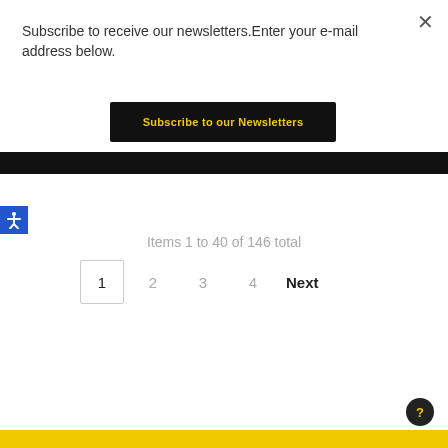Subscribe to receive our newsletters.Enter your e-mail address below.
Subscribe to our Newsletters
Items 1 to 40 of 146 total
1  2  3  4  Next